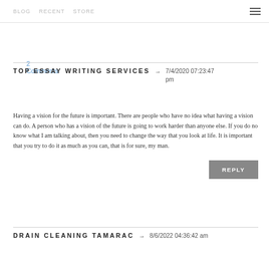2 Comments
TOP ESSAY WRITING SERVICES → 7/4/2020 07:23:47 pm
Having a vision for the future is important. There are people who have no idea what having a vision can do. A person who has a vision of the future is going to work harder than anyone else. If you do no know what I am talking about, then you need to change the way that you look at life. It is important that you try to do it as much as you can, that is for sure, my man.
DRAIN CLEANING TAMARAC → 8/6/2022 04:36:42 am